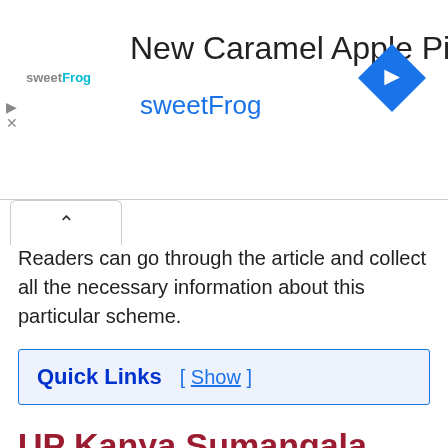[Figure (other): Advertisement banner for sweetFrog 'New Caramel Apple Pie Swirl' with sweetFrog logo, text, and a blue diamond navigation icon on the right.]
Readers can go through the article and collect all the necessary information about this particular scheme.
Quick Links [ Show ]
UP Kanya Sumangala Yojana 2022
| Name of the | Mukhyamantri Kanya |